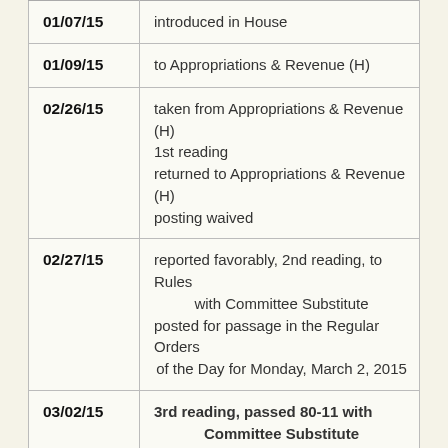| Date | Action |
| --- | --- |
| 01/07/15 | introduced in House |
| 01/09/15 | to Appropriations & Revenue (H) |
| 02/26/15 | taken from Appropriations & Revenue (H)
1st reading
returned to Appropriations & Revenue (H)
posting waived |
| 02/27/15 | reported favorably, 2nd reading, to Rules with Committee Substitute
posted for passage in the Regular Orders of the Day for Monday, March 2, 2015 |
| 03/02/15 | 3rd reading, passed 80-11 with Committee Substitute
received in Senate |